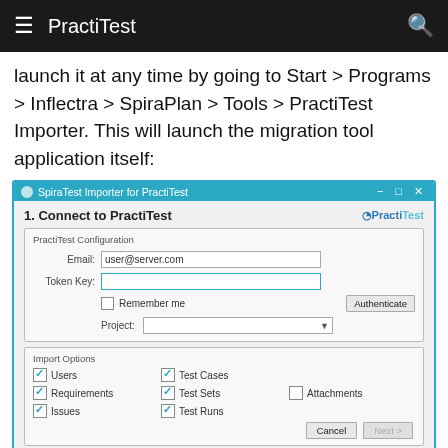PractiTest
launch it at any time by going to Start > Programs > Inflectra > SpiraPlan > Tools > PractiTest Importer. This will launch the migration tool application itself:
[Figure (screenshot): Screenshot of SpiraTest Importer for PractiTest application dialog showing: 1. Connect to PractiTest section with PractiTest Configuration form fields (Email: user@server.com, Token Key field, Remember me checkbox, Authenticate button, Project dropdown), Import Options section with checkboxes (Users, Requirements, Issues, Test Cases, Test Sets, Test Runs checked; Attachments unchecked), and Cancel/Next buttons at the bottom.]